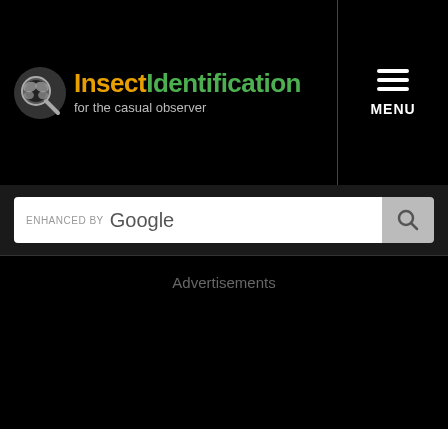InsectIdentification for the casual observer
ENHANCED BY Google
Advertisements
Asian Giant Hornet (Vespa mandarinia)